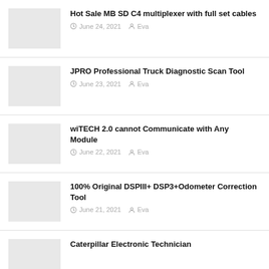Hot Sale MB SD C4 multiplexer with full set cables — June 24, 2021 — Eva
JPRO Professional Truck Diagnostic Scan Tool — June 23, 2021 — Eva
wiTECH 2.0 cannot Communicate with Any Module — June 22, 2021 — Eva
100% Original DSPIII+ DSP3+Odometer Correction Tool — June 21, 2021 — Eva
Caterpillar Electronic Technician